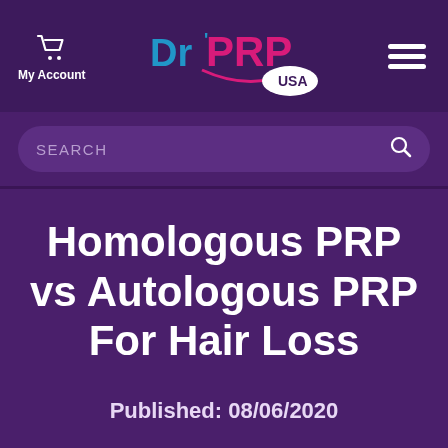My Account | Dr PRP USA | (hamburger menu)
SEARCH
Homologous PRP vs Autologous PRP For Hair Loss
Published: 08/06/2020